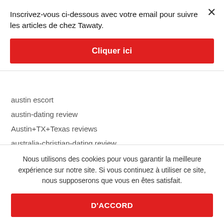Inscrivez-vous ci-dessous avec votre email pour suivre les articles de chez Tawaty.
Cliquer ici
austin escort
austin-dating review
Austin+TX+Texas reviews
australia-christian-dating review
Nous utilisons des cookies pour vous garantir la meilleure expérience sur notre site. Si vous continuez à utiliser ce site, nous supposerons que vous en êtes satisfait.
D'ACCORD